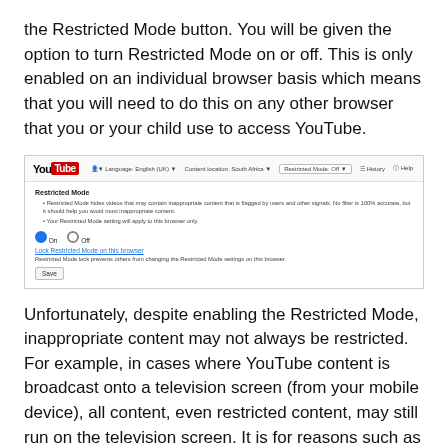the Restricted Mode button. You will be given the option to turn Restricted Mode on or off. This is only enabled on an individual browser basis which means that you will need to do this on any other browser that you or your child use to access YouTube.
[Figure (screenshot): Screenshot of YouTube Restricted Mode settings page showing navigation bar with YouTube logo, Language: English (UK), Content location: South Africa, Restricted Mode: Off, History, and Help options. Below is a panel showing Restricted Mode settings with bullet points explaining the feature, On/Off radio buttons (On selected), a 'Lock Restricted Mode on this browser' link, explanatory text, and a Save button.]
Unfortunately, despite enabling the Restricted Mode, inappropriate content may not always be restricted. For example, in cases where YouTube content is broadcast onto a television screen (from your mobile device), all content, even restricted content, may still run on the television screen. It is for reasons such as this that we suggest parents keep an eye on what their children watch on YouTube at all times.